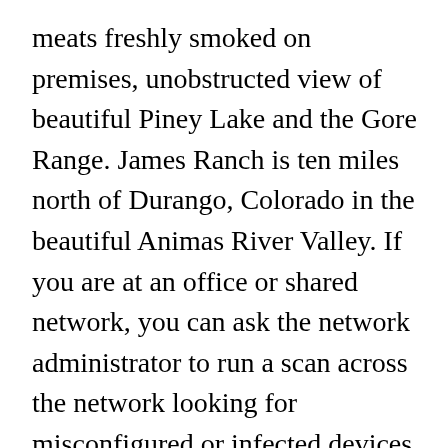meats freshly smoked on premises, unobstructed view of beautiful Piney Lake and the Gore Range. James Ranch is ten miles north of Durango, Colorado in the beautiful Animas River Valley. If you are at an office or shared network, you can ask the network administrator to run a scan across the network looking for misconfigured or infected devices. Be one of the first to write a review! Address: 2285 River Road Tahoe City, CA 96145. vCard. read more for menus and reservations. Restaurants. 2.5K likes. At Williamson River Ranch we have created an elite builder team to showcase their talents by building only exquisite homes. You may